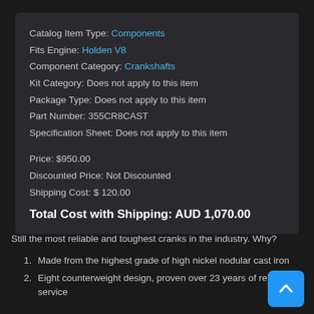Catalog Item Type: Components
Fits Engine: Holden V8
Component Category: Crankshafts
Kit Category: Does not apply to this item
Package Type: Does not apply to this item
Part Number: 355CR8CAST
Specification Sheet: Does not apply to this item
Price: $950.00
Discounted Price: Not Discounted
Shipping Cost: $ 120.00
Total Cost with Shipping: AUD 1,070.00
Still the most reliable and toughest cranks in the industry. Why?
Made from the highest grade of high nickel nodular cast iron
Eight counterweight design, proven over 23 years of reliable service